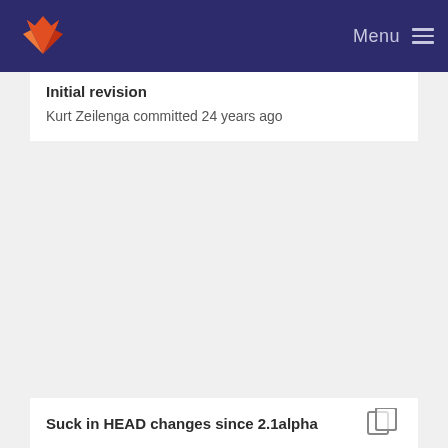GitLab — Menu
Initial revision
Kurt Zeilenga committed 24 years ago
Suck in HEAD changes since 2.1alpha